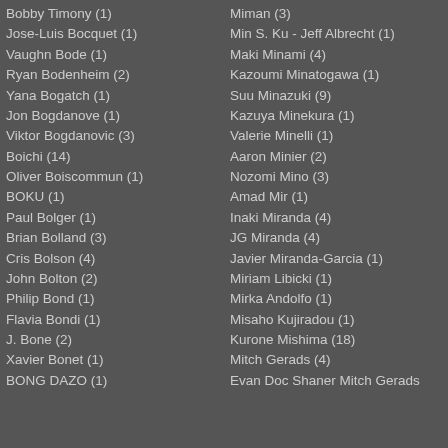Bobby Timony (1)
Jose-Luis Bocquet (1)
Vaughn Bode (1)
Ryan Bodenheim (2)
Yana Bogatch (1)
Jon Bogdanove (1)
Viktor Bogdanovic (3)
Boichi (14)
Oliver Boiscommun (1)
BOKU (1)
Paul Bolger (1)
Brian Bolland (3)
Cris Bolson (4)
John Bolton (2)
Philip Bond (1)
Flavia Bondi (1)
J. Bone (2)
Xavier Bonet (1)
BONG DAZO (1)
Miman (3)
Min S. Ku - Jeff Albrecht (1)
Maki Minami (4)
Kazoumi Minatogawa (1)
Suu Minazuki (9)
Kazuya Minekura (1)
Valerie Minelli (1)
Aaron Minier (2)
Nozomi Mino (3)
Amad Mir (1)
Inaki Miranda (4)
JG Miranda (4)
Javier Miranda-Garcia (1)
Miriam Libicki (1)
Mirka Andolfo (1)
Misaho Kujiradou (1)
Kurone Mishima (18)
Mitch Gerads (4)
Evan Doc Shaner Mitch Gerads